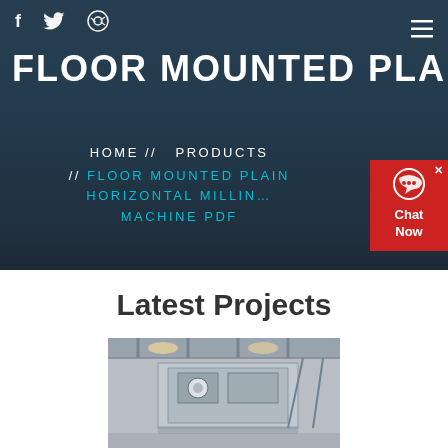f  twitter  dribbble  ≡
FLOOR MOUNTED PLAIN HORIZ…
HOME // PRODUCTS // FLOOR MOUNTED PLAIN HORIZONTAL MILLING MACHINE PDF
Latest Projects
[Figure (photo): Industrial/construction machinery or building interior photo]